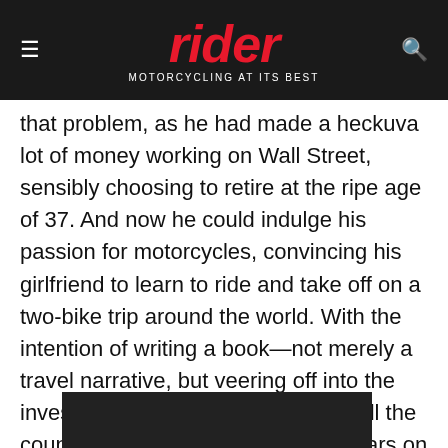rider — MOTORCYCLING AT ITS BEST
that problem, as he had made a heckuva lot of money working on Wall Street, sensibly choosing to retire at the ripe age of 37. And now he could indulge his passion for motorcycles, convincing his girlfriend to learn to ride and take off on a two-bike trip around the world. With the intention of writing a book—not merely a travel narrative, but veering off into the investment possibilities he sees in all the countries he visits during his two years on the road. Would that we all had his financial acumen.
Privacy Preferences
I Agree